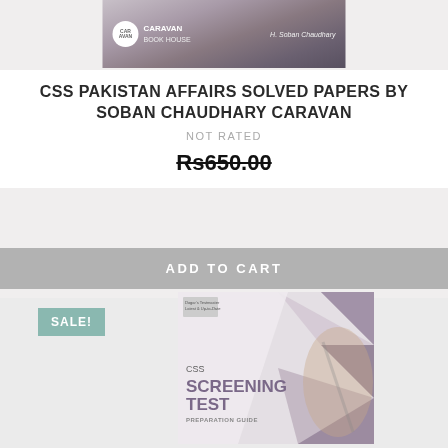[Figure (photo): Top portion of book cover for CSS Pakistan Affairs Solved Papers by Soban Chaudhary Caravan, showing Caravan Book House logo and author name H. Soban Chaudhary]
CSS PAKISTAN AFFAIRS SOLVED PAPERS BY SOBAN CHAUDHARY CARAVAN
NOT RATED
Rs650.00
ADD TO CART
SALE!
[Figure (photo): Book cover for CSS Screening Test Preparation Guide by Dogar Brothers, showing decorative diamond pattern, pen image, and text: CSS SCREENING TEST PREPARATION GUIDE. Salient Features: Revisions Notes, To the Point Material, Important MCQs with Explanatory Answers. Logos for Dogar Brothers and DOGAR.PK at bottom.]